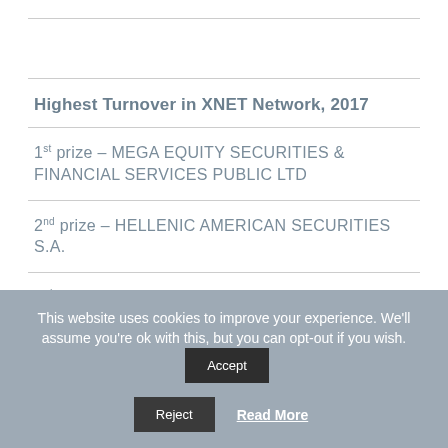Highest Turnover in XNET Network, 2017
1st prize – MEGA EQUITY SECURITIES & FINANCIAL SERVICES PUBLIC LTD
2nd prize – HELLENIC AMERICAN SECURITIES S.A.
3rd prize – THE CYPRUS INVESTMENT & SECURITIES
This website uses cookies to improve your experience. We'll assume you're ok with this, but you can opt-out if you wish.